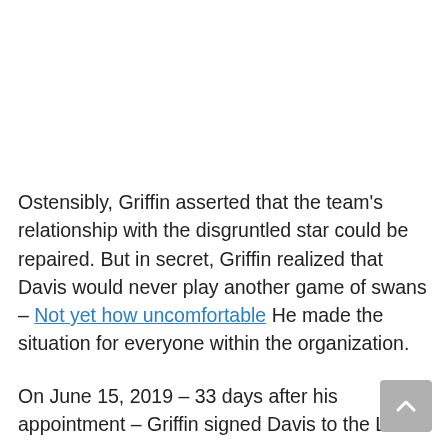Ostensibly, Griffin asserted that the team's relationship with the disgruntled star could be repaired. But in secret, Griffin realized that Davis would never play another game of swans – Not yet how uncomfortable He made the situation for everyone within the organization.
On June 15, 2019 – 33 days after his appointment – Griffin signed Davis to the Los